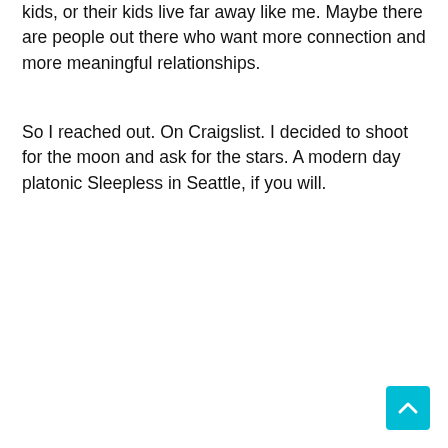kids, or their kids live far away like me. Maybe there are people out there who want more connection and more meaningful relationships.
So I reached out. On Craigslist. I decided to shoot for the moon and ask for the stars. A modern day platonic Sleepless in Seattle, if you will.